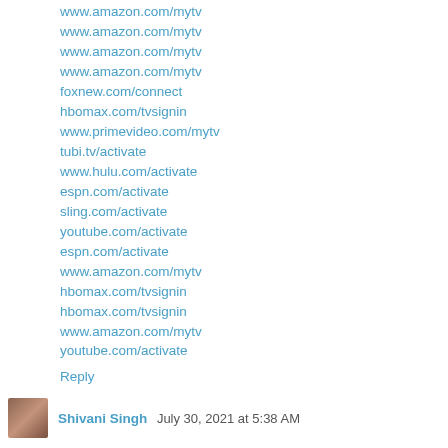www.amazon.com/mytv
www.amazon.com/mytv
www.amazon.com/mytv
www.amazon.com/mytv
foxnew.com/connect
hbomax.com/tvsignin
www.primevideo.com/mytv
tubi.tv/activate
www.hulu.com/activate
espn.com/activate
sling.com/activate
youtube.com/activate
espn.com/activate
www.amazon.com/mytv
hbomax.com/tvsignin
hbomax.com/tvsignin
www.amazon.com/mytv
youtube.com/activate
Reply
Shivani Singh  July 30, 2021 at 5:38 AM